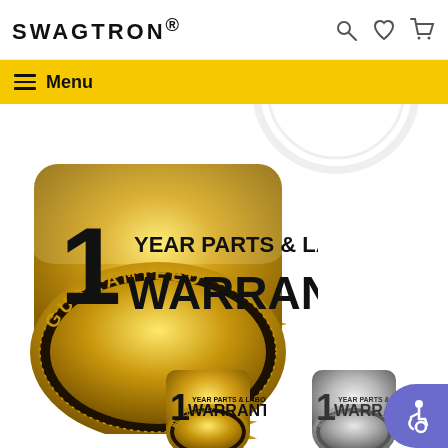SWAGTRON®
Menu
[Figure (logo): Large gold warranty badge: 1 YEAR PARTS & LABOR WARRANTY GUARANTEED seal with starburst and dotted border]
[Figure (logo): Small gold warranty badge: BEST QUALITY 1 YEAR PARTS & LABOR WARRANTY GUARANTEED]
[Figure (logo): Small silver warranty badge: BEST QUALITY 1 YEAR PARTS & LABOR WARRANTY GUARANTEED]
[Figure (illustration): Accessibility icon button (blue circle with wheelchair user silhouette)]